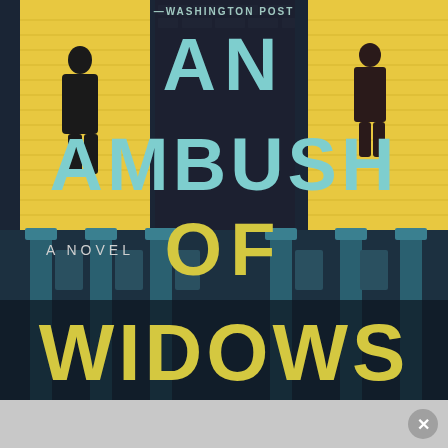[Figure (illustration): Book cover for 'An Ambush of Widows' — a noir-style illustration of a dark brick apartment building at night, with two yellow-lit windows showing silhouettes of women. Large teal/mint text reads 'AN AMBUSH OF' and large yellow text reads 'WIDOWS'. Smaller text says 'A NOVEL'. At the top, partially visible text reads '—WASHINGTON POST'.]